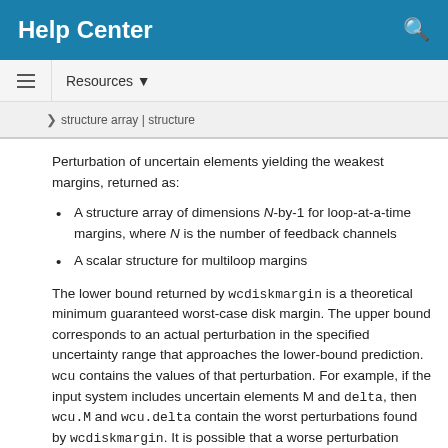Help Center
Resources ▼
structure array | structure
Perturbation of uncertain elements yielding the weakest margins, returned as:
A structure array of dimensions N-by-1 for loop-at-a-time margins, where N is the number of feedback channels
A scalar structure for multiloop margins
The lower bound returned by wcdiskmargin is a theoretical minimum guaranteed worst-case disk margin. The upper bound corresponds to an actual perturbation in the specified uncertainty range that approaches the lower-bound prediction. wcu contains the values of that perturbation. For example, if the input system includes uncertain elements M and delta, then wcu.M and wcu.delta contain the worst perturbations found by wcdiskmargin. It is possible that a worse perturbation exists, but no perturbation can yield a worse margin than the